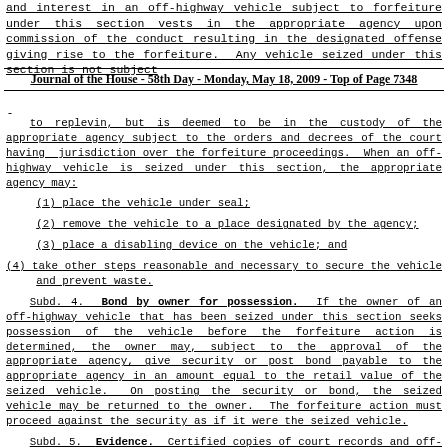and interest in an off-highway vehicle subject to forfeiture under this section vests in the appropriate agency upon commission of the conduct resulting in the designated offense giving rise to the forfeiture.  Any vehicle seized under this section is not subject
Journal of the House - 58th Day - Monday, May 18, 2009 - Top of Page 7348
-
to replevin, but is deemed to be in the custody of the appropriate agency subject to the orders and decrees of the court having jurisdiction over the forfeiture proceedings.  When an off-highway vehicle is seized under this section, the appropriate agency may:
(1) place the vehicle under seal;
(2) remove the vehicle to a place designated by the agency;
(3) place a disabling device on the vehicle; and
(4) take other steps reasonable and necessary to secure the vehicle and prevent waste.
Subd. 4. Bond by owner for possession. If the owner of an off-highway vehicle that has been seized under this section seeks possession of the vehicle before the forfeiture action is determined, the owner may, subject to the approval of the appropriate agency, give security or post bond payable to the appropriate agency in an amount equal to the retail value of the seized vehicle. On posting the security or bond, the seized vehicle may be returned to the owner. The forfeiture action must proceed against the security as if it were the seized vehicle.
Subd. 5. Evidence. Certified copies of court records and off-highway vehicle and driver's records concerning prior incidents are admissible as